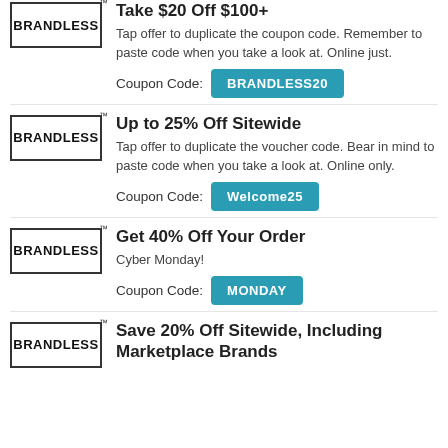[Figure (logo): Brandless logo - rectangular border with BRANDLESS text and TM mark]
Take $20 Off $100+
Tap offer to duplicate the coupon code. Remember to paste code when you take a look at. Online just.
Coupon Code: BRANDLESS20
[Figure (logo): Brandless logo - rectangular border with BRANDLESS text and TM mark]
Up to 25% Off Sitewide
Tap offer to duplicate the voucher code. Bear in mind to paste code when you take a look at. Online only.
Coupon Code: Welcome25
[Figure (logo): Brandless logo - rectangular border with BRANDLESS text and TM mark]
Get 40% Off Your Order
Cyber Monday!
Coupon Code: MONDAY
[Figure (logo): Brandless logo - rectangular border with BRANDLESS text and TM mark]
Save 20% Off Sitewide, Including Marketplace Brands